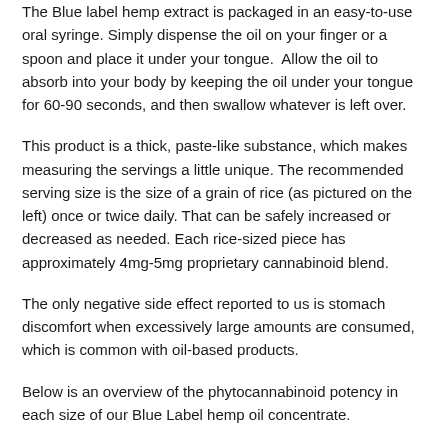The Blue label hemp extract is packaged in an easy-to-use oral syringe. Simply dispense the oil on your finger or a spoon and place it under your tongue.  Allow the oil to absorb into your body by keeping the oil under your tongue for 60-90 seconds, and then swallow whatever is left over.
This product is a thick, paste-like substance, which makes measuring the servings a little unique. The recommended serving size is the size of a grain of rice (as pictured on the left) once or twice daily. That can be safely increased or decreased as needed. Each rice-sized piece has approximately 4mg-5mg proprietary cannabinoid blend.
The only negative side effect reported to us is stomach discomfort when excessively large amounts are consumed, which is common with oil-based products.
Below is an overview of the phytocannabinoid potency in each size of our Blue Label hemp oil concentrate.
1 gram / 150mg-180mg CBD / 30 servings